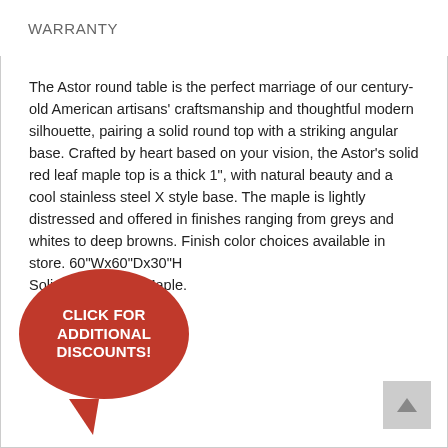WARRANTY
The Astor round table is the perfect marriage of our century-old American artisans' craftsmanship and thoughtful modern silhouette, pairing a solid round top with a striking angular base. Crafted by heart based on your vision, the Astor's solid red leaf maple top is a thick 1", with natural beauty and a cool stainless steel X style base. The maple is lightly distressed and offered in finishes ranging from greys and whites to deep browns. Finish color choices available in store. 60"Wx60"Dx30"H Solid Red Maple.
[Figure (other): Red speech bubble with text CLICK FOR ADDITIONAL DISCOUNTS!]
[Figure (other): Grey scroll-to-top button with upward arrow]